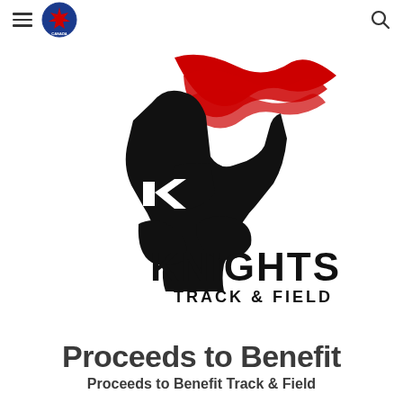≡ [logo] 🔍
[Figure (logo): Knights Track & Field logo: a stylized knight helmet in black with red flowing plume, text reads KNIGHTS TRACK & FIELD]
Proceeds to Benefit
Proceeds to Benefit Track & Field